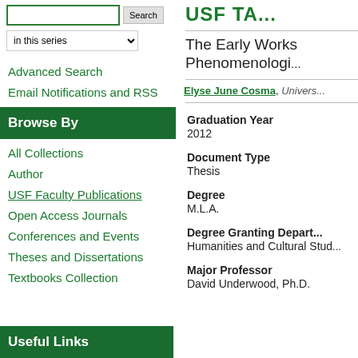[Figure (screenshot): Search bar with text input and Search button, and 'in this series' dropdown selector]
Advanced Search
Email Notifications and RSS
Browse By
All Collections
Author
USF Faculty Publications
Open Access Journals
Conferences and Events
Theses and Dissertations
Textbooks Collection
Useful Links
USF TA...
The Early Works... Phenomenologi...
Elyse June Cosma, Univers...
Graduation Year
2012
Document Type
Thesis
Degree
M.L.A.
Degree Granting Depart...
Humanities and Cultural Stud...
Major Professor
David Underwood, Ph.D.